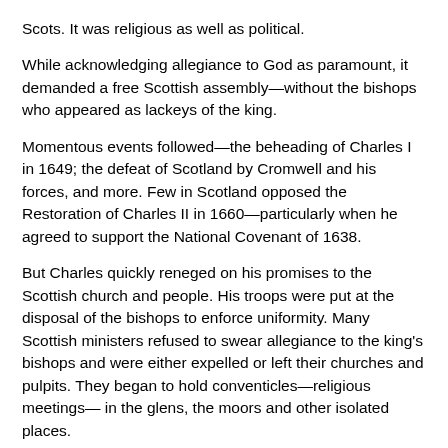Scots. It was religious as well as political.
While acknowledging allegiance to God as paramount, it demanded a free Scottish assembly—without the bishops who appeared as lackeys of the king.
Momentous events followed—the beheading of Charles I in 1649; the defeat of Scotland by Cromwell and his forces, and more. Few in Scotland opposed the Restoration of Charles II in 1660—particularly when he agreed to support the National Covenant of 1638.
But Charles quickly reneged on his promises to the Scottish church and people. His troops were put at the disposal of the bishops to enforce uniformity. Many Scottish ministers refused to swear allegiance to the king's bishops and were either expelled or left their churches and pulpits. They began to hold conventicles—religious meetings— in the glens, the moors and other isolated places.
This challenge...